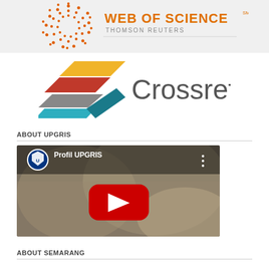[Figure (logo): Web of Science logo with Thomson Reuters text on light gray background]
[Figure (logo): Crossref logo with colorful geometric arrow shapes and gray Crossref text]
ABOUT UPGRIS
[Figure (screenshot): YouTube video thumbnail showing Profil UPGRIS with a person in white lab coat and red YouTube play button]
ABOUT SEMARANG